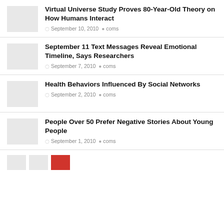Virtual Universe Study Proves 80-Year-Old Theory on How Humans Interact
September 10, 2010  coms
September 11 Text Messages Reveal Emotional Timeline, Says Researchers
September 7, 2010  coms
Health Behaviors Influenced By Social Networks
September 2, 2010  coms
People Over 50 Prefer Negative Stories About Young People
September 1, 2010  coms
[Figure (other): Partial view of thumbnail images at bottom of page]